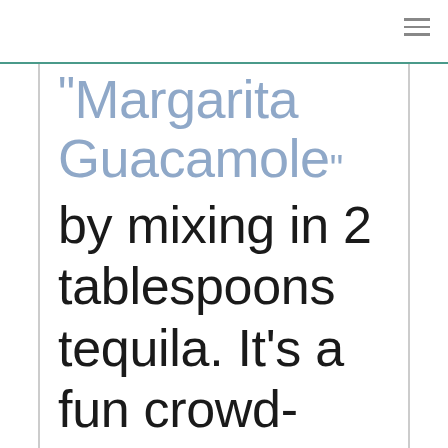“Margarita Guacamole”
by mixing in 2 tablespoons tequila. It’s a fun crowd-pleaser.